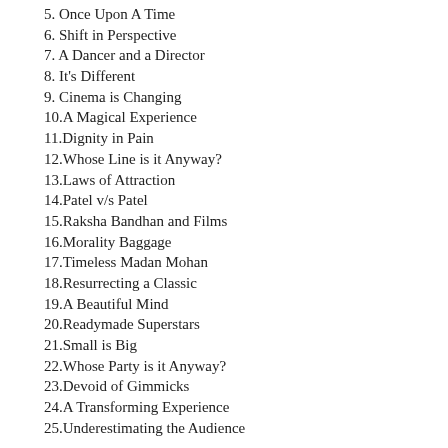5. Once Upon A Time
6. Shift in Perspective
7. A Dancer and a Director
8. It's Different
9. Cinema is Changing
10.A Magical Experience
11.Dignity in Pain
12.Whose Line is it Anyway?
13.Laws of Attraction
14.Patel v/s Patel
15.Raksha Bandhan and Films
16.Morality Baggage
17.Timeless Madan Mohan
18.Resurrecting a Classic
19.A Beautiful Mind
20.Readymade Superstars
21.Small is Big
22.Whose Party is it Anyway?
23.Devoid of Gimmicks
24.A Transforming Experience
25.Underestimating the Audience